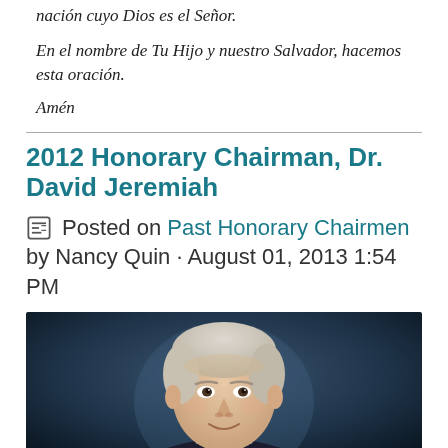nación cuyo Dios es el Señor.
En el nombre de Tu Hijo y nuestro Salvador, hacemos esta oración.
Amén
2012 Honorary Chairman, Dr. David Jeremiah
Posted on Past Honorary Chairmen by Nancy Quin · August 01, 2013 1:54 PM
[Figure (photo): Portrait photo of Dr. David Jeremiah, an older man with white/grey hair, smiling, wearing a dark suit, against a dark blue background.]